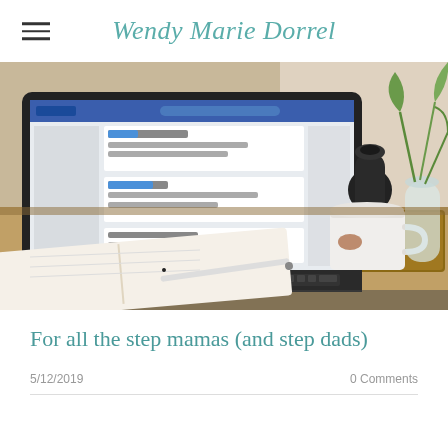Wendy Marie Dorrel
[Figure (photo): A desk scene with an open laptop showing a social media page, an open notebook with a pen on top, a white ceramic mug on a wooden tray, a black glass bottle, and a vase with green plant stems, in a bright, airy setting.]
For all the step mamas (and step dads)
5/12/2019   0 Comments